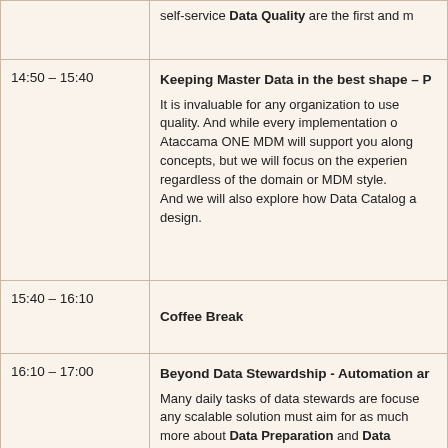| Time | Session |
| --- | --- |
|  | self-service Data Quality are the first and m… |
| 14:50 – 15:40 | Keeping Master Data in the best shape – P…
It is invaluable for any organization to use quality. And while every implementation o… Ataccama ONE MDM will support you along concepts, but we will focus on the experien… regardless of the domain or MDM style.
And we will also explore how Data Catalog a… design. |
| 15:40 – 16:10 | Coffee Break |
| 16:10 – 17:00 | Beyond Data Stewardship - Automation ar… Many daily tasks of data stewards are focuse… any scalable solution must aim for as much … more about Data Preparation and Data… modules of Ataccama ONE Platform.

And in the second part, let us guide you th… |